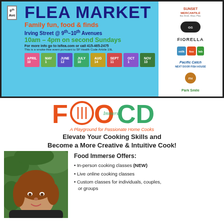[Figure (infographic): Irving Street Flea Market banner advertisement. Light blue background with bold text: FLEA MARKET, Family fun, food & finds, Irving Street @ 9th-10th Avenues, 10am-4pm on second Sundays. Sponsor logos on right: Sunset Mercantile, GoldenGateBridge icon, Fiorella, Milk+Foo+Bar, Pacific Catch, Foghorn, Park Smile. Colored date boxes at bottom: APRIL 10, MAY 1, JUNE 12, JULY 10, AUG 14, SEPT 11, OCT 1, NOV 13.]
[Figure (logo): Food Immerse logo: large orange F, fork icon, orange OO, green CD letters, with 'Immerse' script inside the O. Tagline: A Playground for Passionate Home Cooks]
Elevate Your Cooking Skills and Become a More Creative & Intuitive Cook!
[Figure (photo): Headshot photo of a woman with reddish-brown hair, smiling, in front of green foliage background.]
Food Immerse Offers:
In-person cooking classes (NEW)
Live online cooking classes
Custom classes for individuals, couples, or groups